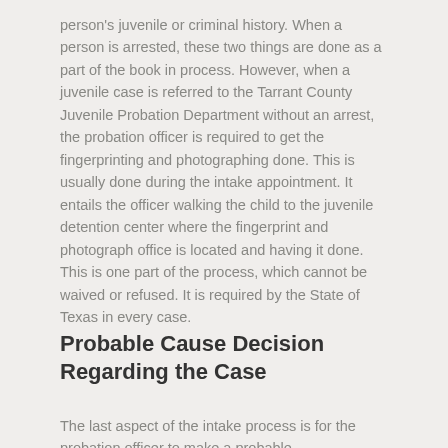person's juvenile or criminal history. When a person is arrested, these two things are done as a part of the book in process. However, when a juvenile case is referred to the Tarrant County Juvenile Probation Department without an arrest, the probation officer is required to get the fingerprinting and photographing done. This is usually done during the intake appointment. It entails the officer walking the child to the juvenile detention center where the fingerprint and photograph office is located and having it done. This is one part of the process, which cannot be waived or refused. It is required by the State of Texas in every case.
Probable Cause Decision Regarding the Case
The last aspect of the intake process is for the probation officer to make a probable